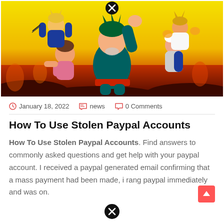[Figure (illustration): Anime illustration from My Hero Academia showing characters on yellow/orange background. A close button (X in black circle) appears at the top center.]
January 18, 2022   news   0 Comments
How To Use Stolen Paypal Accounts
How To Use Stolen Paypal Accounts. Find answers to commonly asked questions and get help with your paypal account. I received a paypal generated email confirming that a mass payment had been made, i rang paypal immediately and was on.